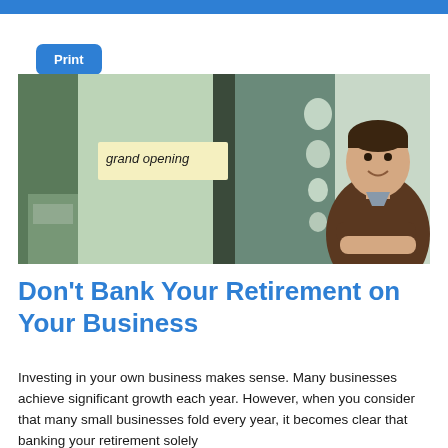Print
[Figure (photo): A smiling man with arms crossed standing in front of a shop door with a 'grand opening' sign in the window.]
Don't Bank Your Retirement on Your Business
Investing in your own business makes sense. Many businesses achieve significant growth each year. However, when you consider that many small businesses fold every year, it becomes clear that banking your retirement solely